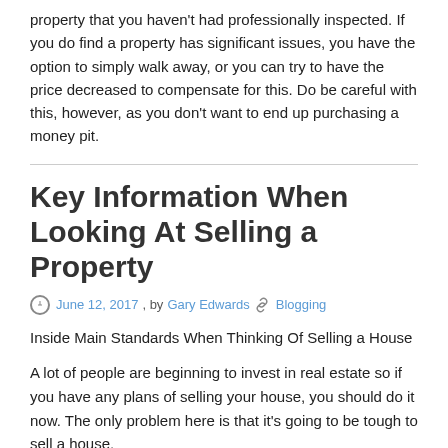property that you haven't had professionally inspected. If you do find a property has significant issues, you have the option to simply walk away, or you can try to have the price decreased to compensate for this. Do be careful with this, however, as you don't want to end up purchasing a money pit.
Key Information When Looking At Selling a Property
June 12, 2017 , by Gary Edwards  Blogging
Inside Main Standards When Thinking Of Selling a House
A lot of people are beginning to invest in real estate so if you have any plans of selling your house, you should do it now. The only problem here is that it's going to be tough to sell a house.
Many of you have most likely seen articles stating that selling a house is simple or you have come across advertisements